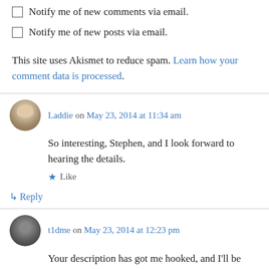Notify me of new comments via email.
Notify me of new posts via email.
This site uses Akismet to reduce spam. Learn how your comment data is processed.
Laddie on May 23, 2014 at 11:34 am
So interesting, Stephen, and I look forward to hearing the details.
Like
Reply
t1dme on May 23, 2014 at 12:23 pm
Your description has got me hooked, and I'll be